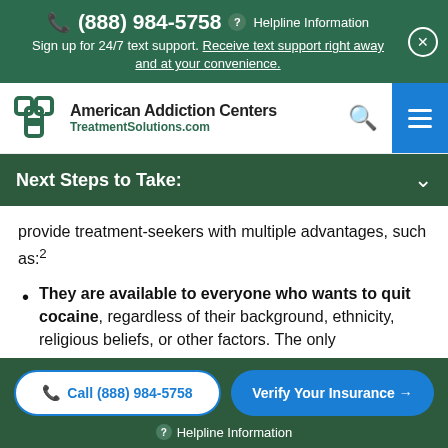(888) 984-5758 ? Helpline Information
Sign up for 24/7 text support. Receive text support right away and at your convenience.
[Figure (logo): American Addiction Centers TreatmentSolutions.com logo with navigation bar including search icon and hamburger menu]
Next Steps to Take:
provide treatment-seekers with multiple advantages, such as:2
They are available to everyone who wants to quit cocaine, regardless of their background, ethnicity, religious beliefs, or other factors. The only
Call (888) 984-5758   Verify Your Insurance →   ? Helpline Information